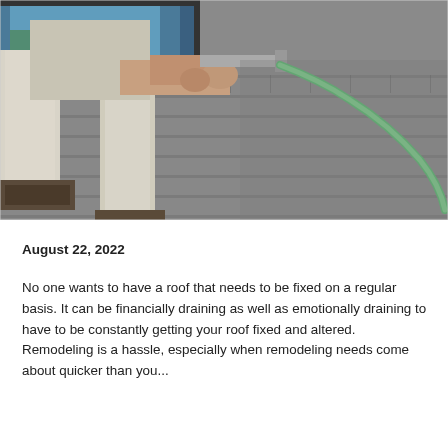[Figure (photo): A worker on a shingled rooftop working on a skylight installation, with a green hose visible on the roof. The person is wearing light-colored pants and work boots.]
August 22, 2022
No one wants to have a roof that needs to be fixed on a regular basis. It can be financially draining as well as emotionally draining to have to be constantly getting your roof fixed and altered. Remodeling is a hassle, especially when remodeling needs come about quicker than you...